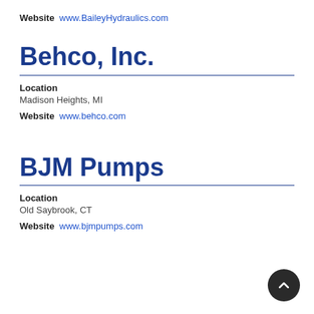Website  www.BaileyHydraulics.com
Behco, Inc.
Location
Madison Heights, MI
Website  www.behco.com
BJM Pumps
Location
Old Saybrook, CT
Website  www.bjmpumps.com